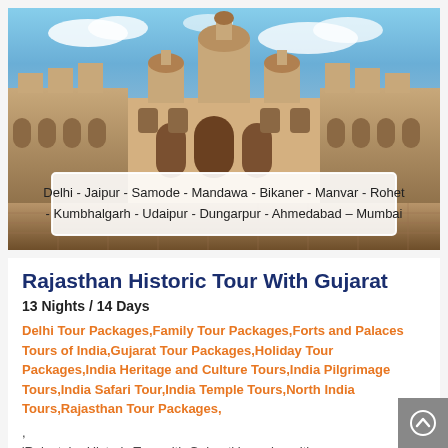[Figure (photo): Rajasthan historical palace/haveli courtyard with ornate architecture, arches, domes and towers against a blue sky with clouds. Overlay text box reads: Delhi - Jaipur - Samode - Mandawa - Bikaner - Manvar - Rohet - Kumbhalgarh - Udaipur - Dungarpur - Ahmedabad – Mumbai]
Rajasthan Historic Tour With Gujarat
13 Nights / 14 Days
Delhi Tour Packages,Family Tour Packages,Forts and Palaces Tours of India,Gujarat Tour Packages,Holiday Tour Packages,India Heritage and Culture Tours,India Pilgrimage Tours,India Safari Tour,India Temple Tours,North India Tours,Rajasthan Tour Packages,
'Rajastahn Historic Tour with Gujarat' is such an itinerary which gives you a chance to explore the history and culture of two states. One can explore the